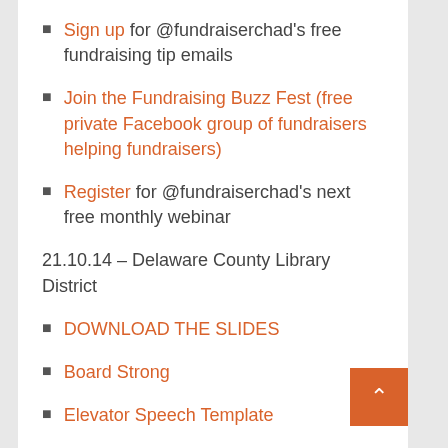Sign up for @fundraiserchad's free fundraising tip emails
Join the Fundraising Buzz Fest (free private Facebook group of fundraisers helping fundraisers)
Register for @fundraiserchad's next free monthly webinar
21.10.14 – Delaware County Library District
DOWNLOAD THE SLIDES
Board Strong
Elevator Speech Template
Visit Request Email Templates
Sample Donor Touch Points